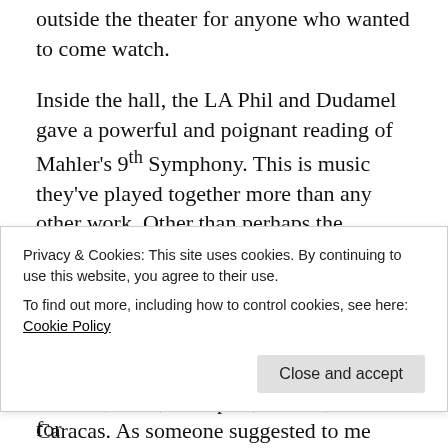outside the theater for anyone who wanted to come watch.
Inside the hall, the LA Phil and Dudamel gave a powerful and poignant reading of Mahler's 9th Symphony. This is music they've played together more than any other work. Other than perhaps the Philharmonic staff (and the musicians themselves), I can probably say I've heard them perform this symphony more than anyone else on the planet. Multiple performances in LA, plus concerts in London, Paris, Budapest, Vienna, and now Caracas. As someone suggested to me recently, Mahler 9 is quickly
Privacy & Cookies: This site uses cookies. By continuing to use this website, you agree to their use.
To find out more, including how to control cookies, see here: Cookie Policy
interpretations, almost like they're looking for